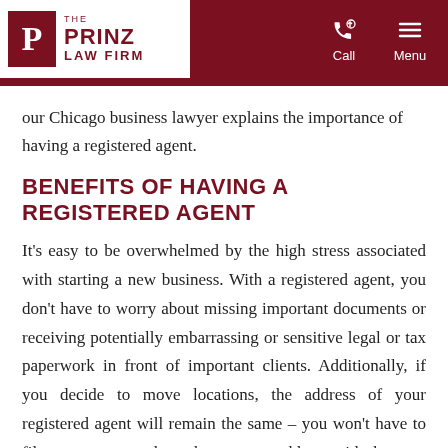The Prinz Law Firm
our Chicago business lawyer explains the importance of having a registered agent.
BENEFITS OF HAVING A REGISTERED AGENT
It’s easy to be overwhelmed by the high stress associated with starting a new business. With a registered agent, you don’t have to worry about missing important documents or receiving potentially embarrassing or sensitive legal or tax paperwork in front of important clients. Additionally, if you decide to move locations, the address of your registered agent will remain the same – you won’t have to file extra paperwork to change your address with the state for every move you make.